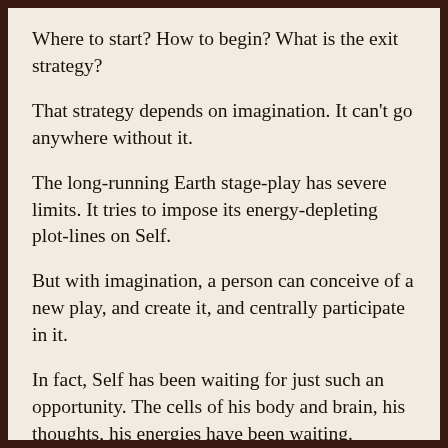Where to start? How to begin? What is the exit strategy?
That strategy depends on imagination. It can't go anywhere without it.
The long-running Earth stage-play has severe limits. It tries to impose its energy-depleting plot-lines on Self.
But with imagination, a person can conceive of a new play, and create it, and centrally participate in it.
In fact, Self has been waiting for just such an opportunity. The cells of his body and brain, his thoughts, his energies have been waiting.